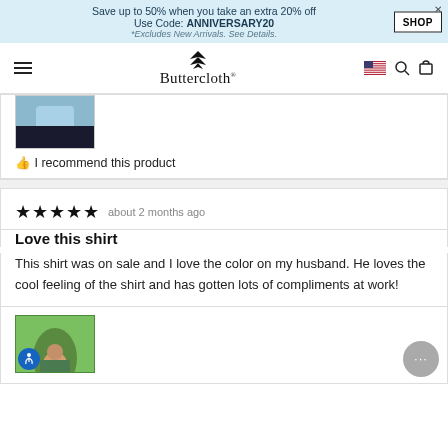Save up to 50% when you take an extra 20% off
Use Code: ANNIVERSARY20
*Excludes New Arrivals. See Details.
SHOP
Buttercloth (navigation bar with hamburger menu, flag, search, cart icons)
[Figure (photo): Partial view of man wearing light blue shirt and black pants]
👍 I recommend this product
★★★★★  about 2 months ago
Love this shirt
This shirt was on sale and I love the color on my husband. He loves the cool feeling of the shirt and has gotten lots of compliments at work!
[Figure (photo): Man wearing green shirt outdoors with trees in background, with blue accessibility icon overlay]